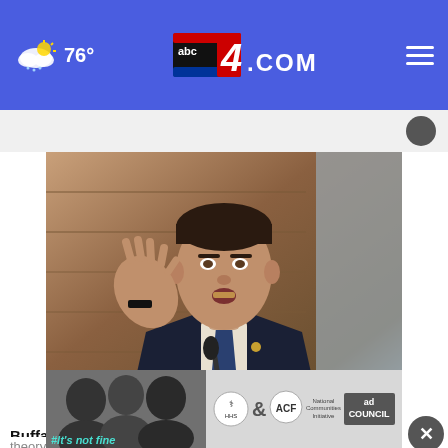abc4.COM — 76°
[Figure (photo): Man in dark suit with blue tie gesturing with right hand raised, speaking into a microphone at what appears to be a hearing or press conference]
Buffalo shooting pushes 'great replacement theory' into national spotlight